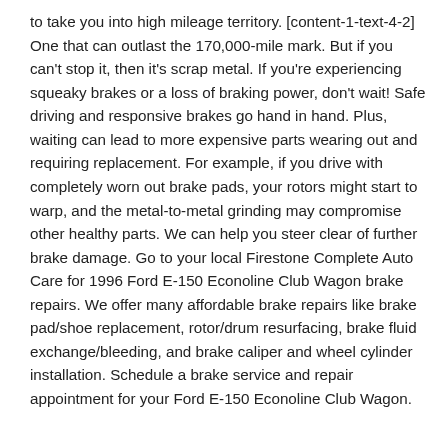to take you into high mileage territory. [content-1-text-4-2] One that can outlast the 170,000-mile mark. But if you can't stop it, then it's scrap metal. If you're experiencing squeaky brakes or a loss of braking power, don't wait! Safe driving and responsive brakes go hand in hand. Plus, waiting can lead to more expensive parts wearing out and requiring replacement. For example, if you drive with completely worn out brake pads, your rotors might start to warp, and the metal-to-metal grinding may compromise other healthy parts. We can help you steer clear of further brake damage. Go to your local Firestone Complete Auto Care for 1996 Ford E-150 Econoline Club Wagon brake repairs. We offer many affordable brake repairs like brake pad/shoe replacement, rotor/drum resurfacing, brake fluid exchange/bleeding, and brake caliper and wheel cylinder installation. Schedule a brake service and repair appointment for your Ford E-150 Econoline Club Wagon.